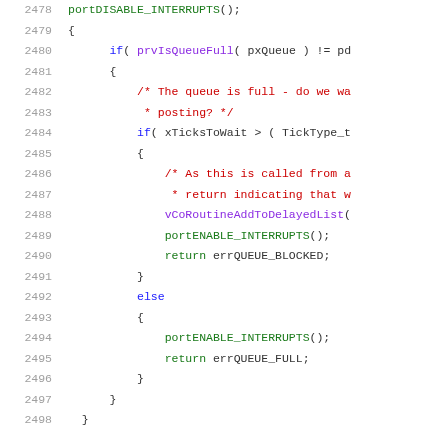[Figure (screenshot): Source code listing showing lines 2478-2498 of C code with syntax highlighting. Code shows queue operations with portDISABLE_INTERRUPTS, prvIsQueueFull check, xTicksToWait comparison, vCoRoutineAddToDelayedList call, portENABLE_INTERRUPTS, and return statements for errQUEUE_BLOCKED and errQUEUE_FULL.]